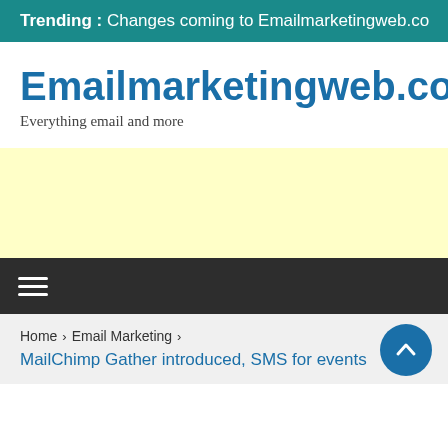Trending :  Changes coming to Emailmarketingweb.co
Emailmarketingweb.com
Everything email and more
[Figure (other): Yellow advertisement banner placeholder]
≡ (hamburger menu icon)
Home > Email Marketing > MailChimp Gather introduced, SMS for events